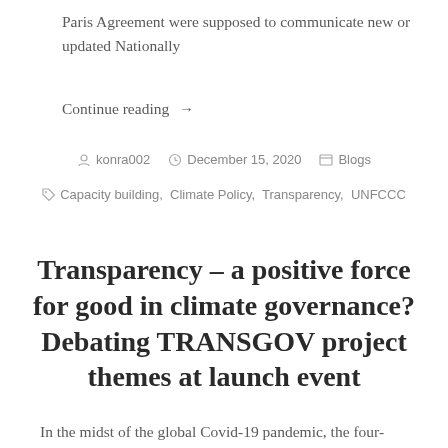Paris Agreement were supposed to communicate new or updated Nationally
Continue reading →
konra002  December 15, 2020  Blogs  Capacity building, Climate Policy, Transparency, UNFCCC
Transparency – a positive force for good in climate governance? Debating TRANSGOV project themes at launch event
In the midst of the global Covid-19 pandemic, the four-